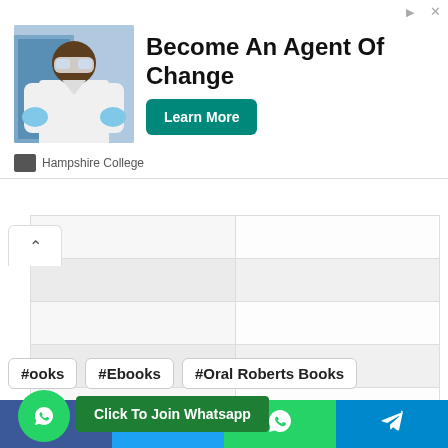[Figure (screenshot): Advertisement banner for Hampshire College. Shows a person in a lab coat and safety goggles. Headline: 'Become An Agent Of Change'. Teal 'Learn More' button. Sponsored by Hampshire College logo.]
|  |  |
|  |  |
|  |  |
|  |  |
|  |  |
|  |  |
|  |  |
#ooks
#Ebooks
#Oral Roberts Books
Click To Join Whatsapp
[Figure (screenshot): Social sharing bar with Facebook, Twitter, WhatsApp, and Telegram icons at bottom of page.]